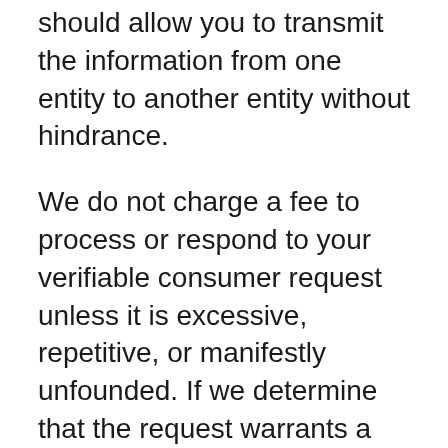should allow you to transmit the information from one entity to another entity without hindrance.
We do not charge a fee to process or respond to your verifiable consumer request unless it is excessive, repetitive, or manifestly unfounded. If we determine that the request warrants a fee, we will tell you why we made that decision and provide you with a cost estimate before completing your request.
Data Security